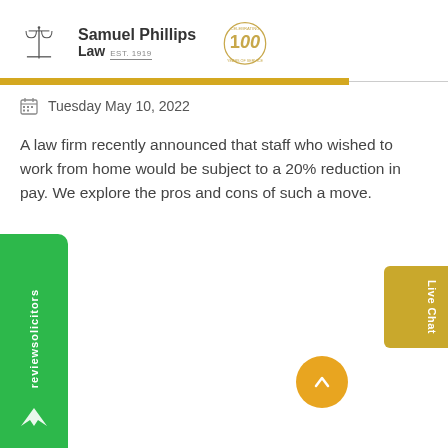[Figure (logo): Samuel Phillips Law logo with scales of justice icon and EST. 1919 text, alongside a 100th anniversary circular emblem in gold]
Tuesday May 10, 2022
A law firm recently announced that staff who wished to work from home would be subject to a 20% reduction in pay. We explore the pros and cons of such a move.
[Figure (logo): ReviewSolicitors green vertical sidebar badge with bird/chevron logo]
[Figure (other): Live Chat button in gold/amber on right edge]
[Figure (other): Scroll to top circular orange button with up chevron]